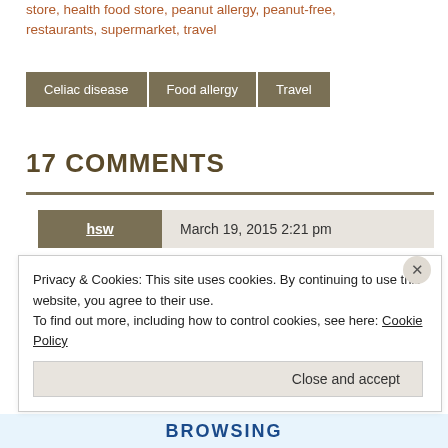store, health food store, peanut allergy, peanut-free, restaurants, supermarket, travel
Celiac disease
Food allergy
Travel
17 COMMENTS
hsw  March 19, 2015 2:21 pm
This is really promising, I'd love to see Hawaii someday but had worried about the food options for the diet but...
Privacy & Cookies: This site uses cookies. By continuing to use this website, you agree to their use.
To find out more, including how to control cookies, see here: Cookie Policy
Close and accept